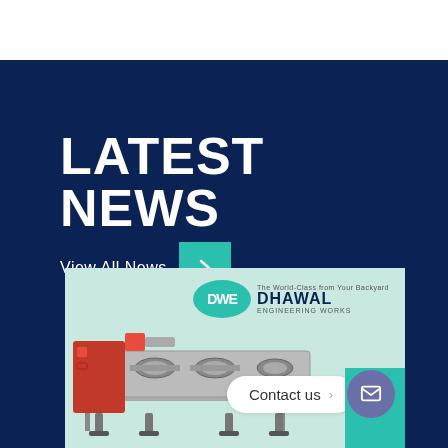LATEST NEWS
View All News
[Figure (photo): Industrial slitting/rewinding machine on light teal background with Dhawal Engineering Works logo in upper right corner]
Contact us